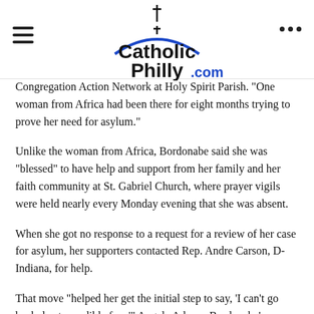CatholicPhilly.com
Congregation Action Network at Holy Spirit Parish. "One woman from Africa had been there for eight months trying to prove her need for asylum."
Unlike the woman from Africa, Bordonabe said she was “blessed” to have help and support from her family and her faith community at St. Gabriel Church, where prayer vigils were held nearly every Monday evening that she was absent.
When she got no response to a request for a review of her case for asylum, her supporters contacted Rep. Andre Carson, D-Indiana, for help.
That move “helped her get the initial step to say, ‘I can’t go back due to credible fear,’” Angela Adams, Bordonabe’s